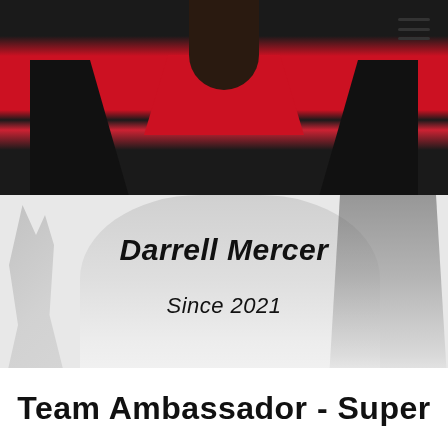[Figure (photo): Close-up photo of a person wearing a red and black sports jersey/uniform, viewed from chin/neck level down to chest. A menu icon (three horizontal lines) is visible in the top right corner of the photo.]
[Figure (photo): Background image of young animals (kittens and puppies) faded/muted against a white background. Text overlaid shows the name 'Darrell Mercer' and 'Since 2021'.]
Darrell Mercer
Since 2021
Team Ambassador - Super